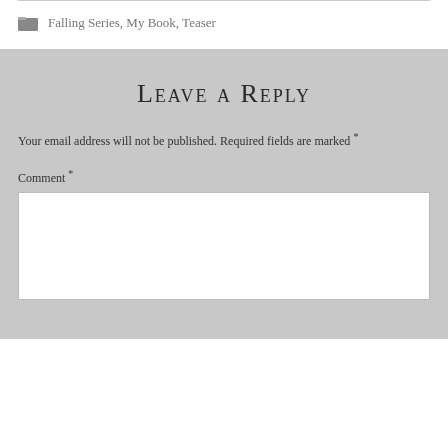Falling Series, My Book, Teaser
Leave a Reply
Your email address will not be published. Required fields are marked *
Comment *